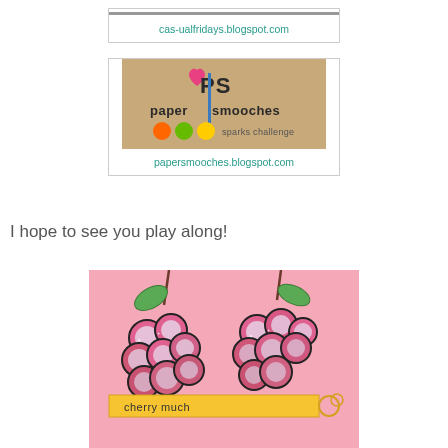cas-ualfridays.blogspot.com
[Figure (logo): Paper Smooches sparks challenge logo on tan/kraft background with colorful dots]
papersmooches.blogspot.com
I hope to see you play along!
[Figure (photo): Close-up craft photo of raspberry/flower stamped images with glitter on pink card with yellow banner and text reading 'cherry much']